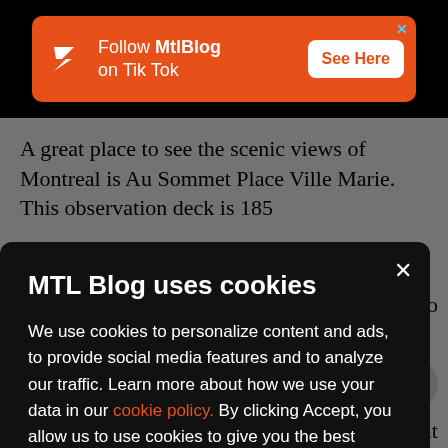[Figure (screenshot): Orange ad banner for MtlBlog TikTok with logo, text 'Follow MtlBlog on Tik Tok' and 'See Here' button]
A great place to see the scenic views of Montreal is Au Sommet Place Ville Marie. This observation deck is 185 ...eem ...promo
MTL Blog uses cookies
We use cookies to personalize content and ads, to provide social media features and to analyze our traffic. Learn more about how we use your data in our cookie policy. By clicking Accept, you allow us to use cookies to give you the best experience on site.
Accept
heck out